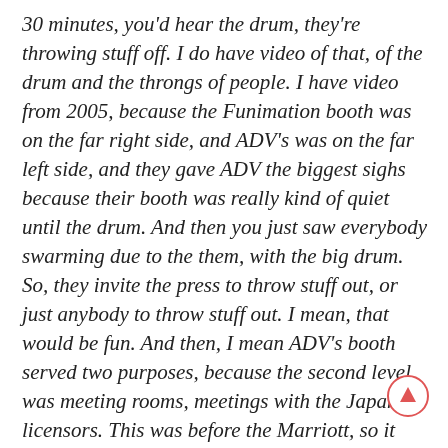30 minutes, you'd hear the drum, they're throwing stuff off. I do have video of that, of the drum and the throngs of people. I have video from 2005, because the Funimation booth was on the far right side, and ADV's was on the far left side, and they gave ADV the biggest sighs because their booth was really kind of quiet until the drum. And then you just saw everybody swarming due to the them, with the big drum. So, they invite the press to throw stuff out, or just anybody to throw stuff out. I mean, that would be fun. And then, I mean ADV's booth served two purposes, because the second level was meeting rooms, meetings with the Japanese licensors. This was before the Marriott, so it wasn't really a good space to have meetings.